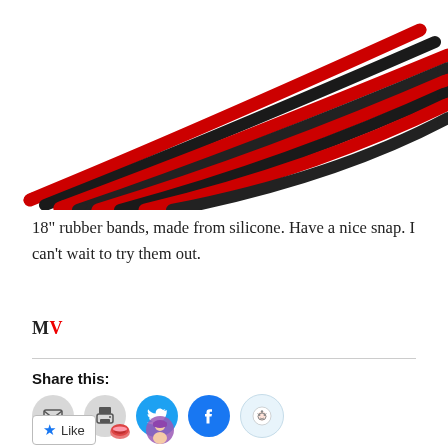[Figure (photo): Product photo showing multiple red and black silicone rubber bands fanned out diagonally on a white background]
18" rubber bands, made from silicone. Have a nice snap. I can't wait to try them out.
MV
Share this:
[Figure (other): Row of social sharing icon buttons: email (envelope), print (printer), Twitter (bird), Facebook (f), Reddit (alien)]
[Figure (other): Like button with star icon, followed by two emoji/avatar reactions]